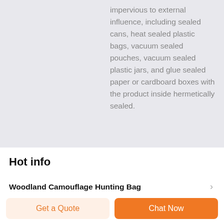impervious to external influence, including sealed cans, heat sealed plastic bags, vacuum sealed pouches, vacuum sealed plastic jars, and glue sealed paper or cardboard boxes with the product inside hermetically sealed.
Hot info
Woodland Camouflage Hunting Bag
Get a Quote
Chat Now